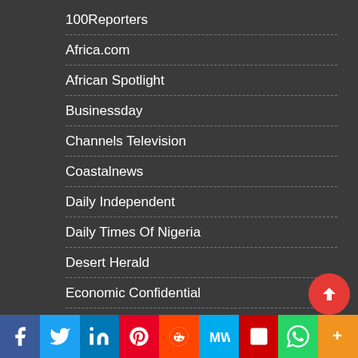100Reporters
Africa.com
African Spotlight
Businessday
Channels Television
Coastalnews
Daily Independent
Daily Times Of Nigeria
Desert Herald
Economic Confidential
Iq4news
Nigerian Tribune
Nigerian Village Square
Okey Ndibe
Osun Defender